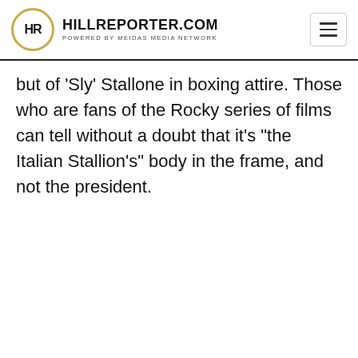HILLREPORTER.COM POWERED BY MEIDAS MEDIA NETWORK
but of ‘Sly’ Stallone in boxing attire. Those who are fans of the Rocky series of films can tell without a doubt that it’s “the Italian Stallion’s” body in the frame, and not the president.